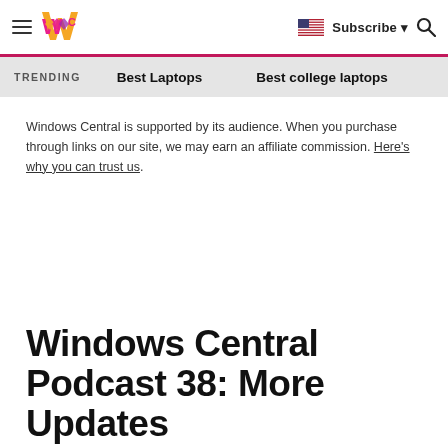Windows Central — Subscribe — Search
TRENDING   Best Laptops   Best college laptops
Windows Central is supported by its audience. When you purchase through links on our site, we may earn an affiliate commission. Here's why you can trust us.
Windows Central Podcast 38: More Updates